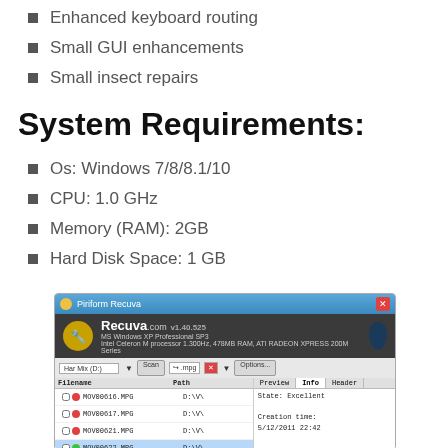Enhanced keyboard routing
Small GUI enhancements
Small insect repairs
System Requirements:
Os: Windows 7/8/8.1/10
CPU: 1.0 GHz
Memory (RAM): 2GB
Hard Disk Space: 1 GB
[Figure (screenshot): Screenshot of Recuva file recovery application showing file list with MOV files and Info panel displaying State: Excellent and Creation time: 5/12/2011 22:42]